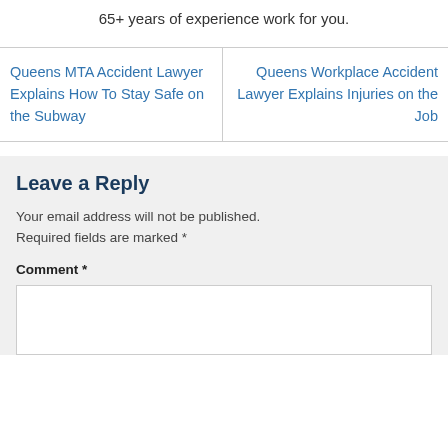65+ years of experience work for you.
Queens MTA Accident Lawyer Explains How To Stay Safe on the Subway
Queens Workplace Accident Lawyer Explains Injuries on the Job
Leave a Reply
Your email address will not be published. Required fields are marked *
Comment *